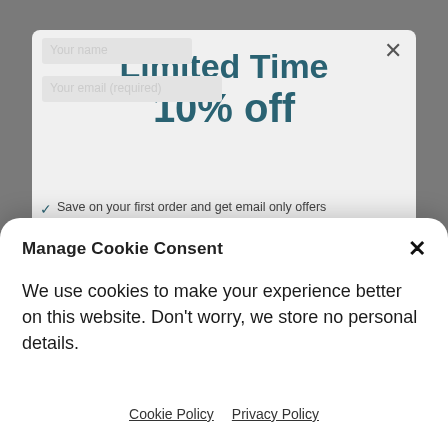Limited Time
10% off
Save on your first order and get email only offers
Manage Cookie Consent
We use cookies to make your experience better on this website. Don't worry, we store no personal details.
Accept
Cookie Policy   Privacy Policy